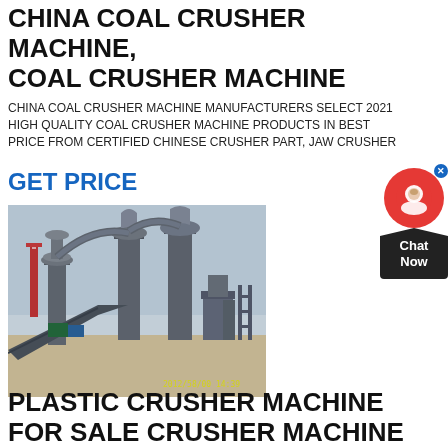CHINA COAL CRUSHER MACHINE, COAL CRUSHER MACHINE
CHINA COAL CRUSHER MACHINE MANUFACTURERS SELECT 2021 HIGH QUALITY COAL CRUSHER MACHINE PRODUCTS IN BEST PRICE FROM CERTIFIED CHINESE CRUSHER PART, JAW CRUSHER
GET PRICE
[Figure (photo): Photograph of an industrial coal crusher plant facility with large grey machinery, pipes, conveyors, and towers on a sandy ground. Timestamp visible in lower portion.]
PLASTIC CRUSHER MACHINE FOR SALE CRUSHER MACHINE